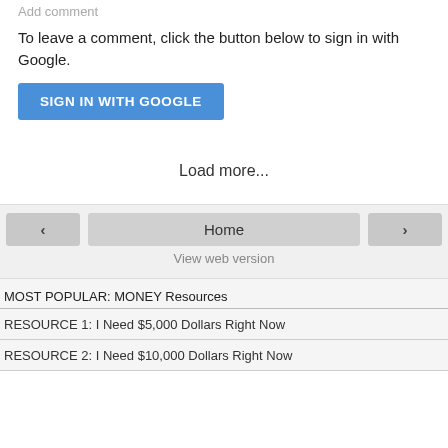Add comment
To leave a comment, click the button below to sign in with Google.
SIGN IN WITH GOOGLE
Load more...
Home
View web version
MOST POPULAR: MONEY Resources
RESOURCE 1: I Need $5,000 Dollars Right Now
RESOURCE 2: I Need $10,000 Dollars Right Now